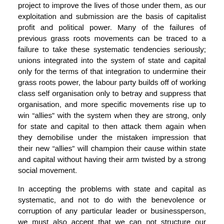project to improve the lives of those under them, as our exploitation and submission are the basis of capitalist profit and political power. Many of the failures of previous grass roots movements can be traced to a failure to take these systematic tendencies seriously; unions integrated into the system of state and capital only for the terms of that integration to undermine their grass roots power, the labour party builds off of working class self organisation only to betray and suppress that organisation, and more specific movements rise up to win “allies” with the system when they are strong, only for state and capital to then attack them again when they demobilise under the mistaken impression that their new “allies” will champion their cause within state and capital without having their arm twisted by a strong social movement.
In accepting the problems with state and capital as systematic, and not to do with the benevolence or corruption of any particular leader or businessperson, we must also accept that we can not structure our organisations along the lines of state and capital without also replicating the same systematic problems. We live and work under capitalist and state hierarchies, so it is easy for their hierarchical and authoritarian methods of organisation, and the assumptions behind them, to become our default method of organisation. But history is littered with popular movements of the